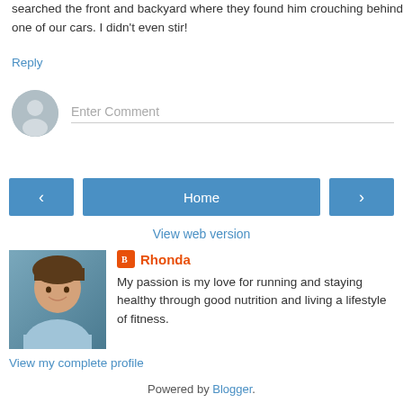searched the front and backyard where they found him crouching behind one of our cars. I didn't even stir!
Reply
[Figure (screenshot): Comment input area with user avatar circle and 'Enter Comment' placeholder text field]
[Figure (screenshot): Navigation buttons: left arrow, Home, right arrow]
View web version
[Figure (photo): Profile photo of Rhonda, a woman with brown hair smiling]
Rhonda
My passion is my love for running and staying healthy through good nutrition and living a lifestyle of fitness.
View my complete profile
Powered by Blogger.